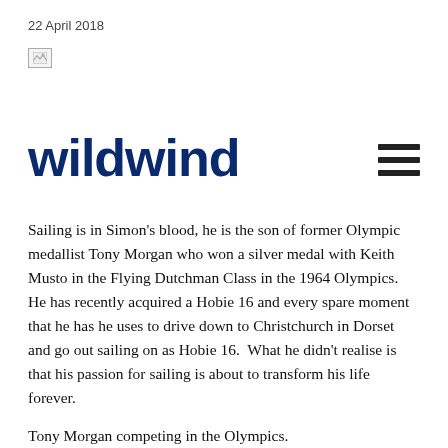22 April 2018
[Figure (photo): Broken/placeholder image icon]
WILDWIND
Sailing is in Simon’s blood, he is the son of former Olympic medallist Tony Morgan who won a silver medal with Keith Musto in the Flying Dutchman Class in the 1964 Olympics. He has recently acquired a Hobie 16 and every spare moment that he has he uses to drive down to Christchurch in Dorset and go out sailing on as Hobie 16.  What he didn’t realise is that his passion for sailing is about to transform his life forever.
Tony Morgan competing in the Olympics.
He reads about an event called the Hog’s Breath 1000, the event is invitation only and all applicants have to submit